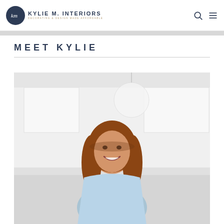Kylie M. Interiors — Decorating & Design Made Affordable
MEET KYLIE
[Figure (photo): Portrait photo of Kylie, a smiling woman with long auburn wavy hair, wearing a light blue top, photographed in a white kitchen setting with globe pendant light in background.]